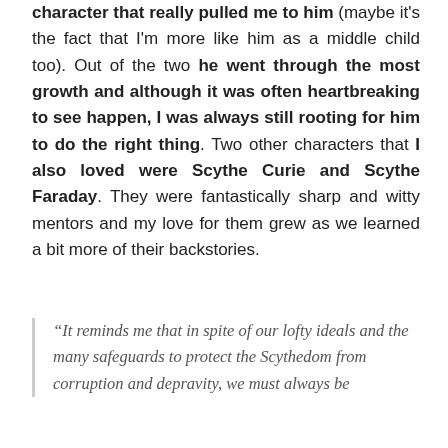character that really pulled me to him (maybe it's the fact that I'm more like him as a middle child too). Out of the two he went through the most growth and although it was often heartbreaking to see happen, I was always still rooting for him to do the right thing. Two other characters that I also loved were Scythe Curie and Scythe Faraday. They were fantastically sharp and witty mentors and my love for them grew as we learned a bit more of their backstories.
“It reminds me that in spite of our lofty ideals and the many safeguards to protect the Scythedom from corruption and depravity, we must always be